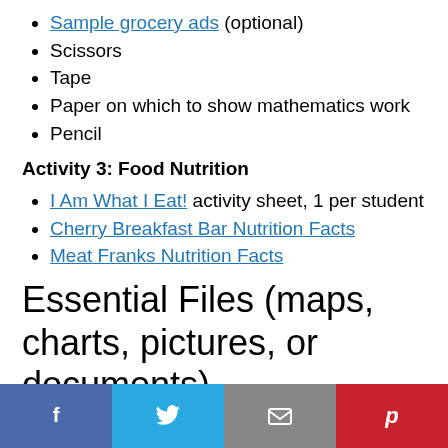Sample grocery ads (optional)
Scissors
Tape
Paper on which to show mathematics work
Pencil
Activity 3: Food Nutrition
I Am What I Eat! activity sheet, 1 per student
Cherry Breakfast Bar Nutrition Facts
Meat Franks Nutrition Facts
Essential Files (maps, charts, pictures, or documents)
Cherry Breakfast Bar Nutrition Facts